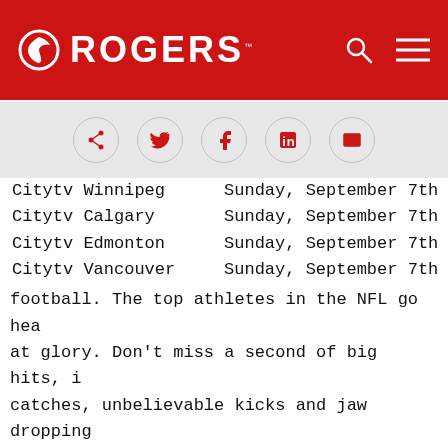[Figure (logo): Rogers logo - white circular icon and 'ROGERS' text in white on red background, with search icon and hamburger menu icon on right]
[Figure (infographic): Social sharing icons in circular outlines: share, Twitter, Facebook, LinkedIn, email - on grey background]
Citytv Winnipeg      Sunday, September 7th
Citytv Calgary       Sunday, September 7th
Citytv Edmonton      Sunday, September 7th
Citytv Vancouver     Sunday, September 7th
football. The top athletes in the NFL go hea at glory. Don't miss a second of big hits, i catches, unbelievable kicks and jaw dropping thrilling victories and heartbreaking losses along side your favourite players. Citytv, i there!